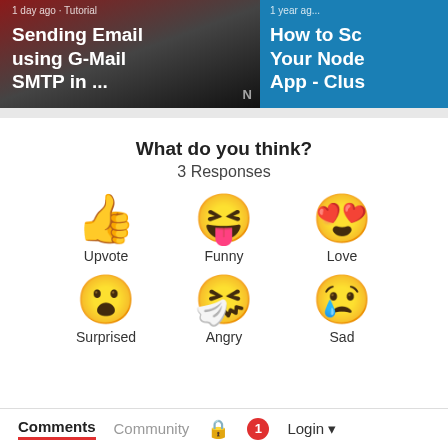[Figure (screenshot): Two article thumbnail cards: left card shows 'Sending Email using G-Mail SMTP in ...' on dark/red background; right card shows 'How to Sc... Your Node App - Clus...' on teal background]
What do you think?
3 Responses
[Figure (infographic): Six emoji reaction buttons in a 3x2 grid: Upvote (thumbs up), Funny (laughing face with tongue), Love (heart eyes), Surprised (surprised face), Angry (crying/sneezing face), Sad (sad face with tear). Each emoji has a label below it.]
Comments   Community   [lock icon]   1   Login